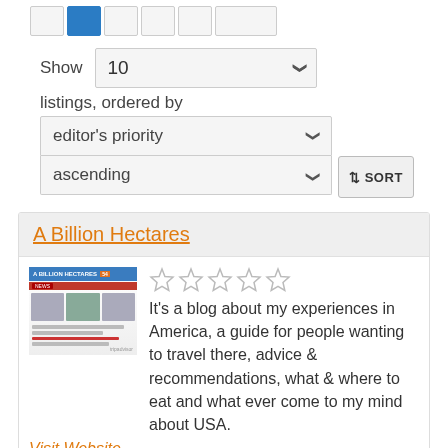[Figure (screenshot): Pagination row with page buttons, one highlighted blue]
Show  10  listings, ordered by
[Figure (screenshot): Dropdown selects for 'editor's priority' and 'ascending' with a SORT button]
A Billion Hectares
[Figure (screenshot): Thumbnail screenshot of the A Billion Hectares blog website]
It's a blog about my experiences in America, a guide for people wanting to travel there, advice & recommendations, what & where to eat and what ever come to my mind about USA.